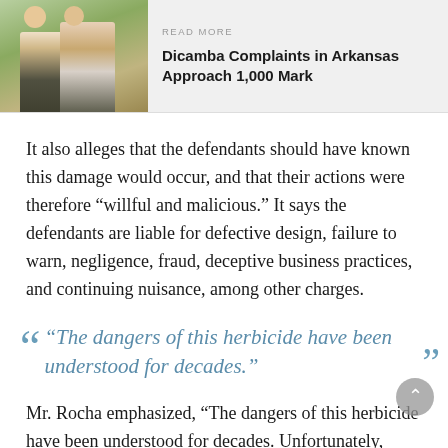[Figure (photo): Two people standing in a crop field, one appearing to examine plants]
READ MORE
Dicamba Complaints in Arkansas Approach 1,000 Mark
It also alleges that the defendants should have known this damage would occur, and that their actions were therefore “willful and malicious.” It says the defendants are liable for defective design, failure to warn, negligence, fraud, deceptive business practices, and continuing nuisance, among other charges.
“The dangers of this herbicide have been understood for decades.”
Mr. Rocha emphasized, “The dangers of this herbicide have been understood for decades. Unfortunately,